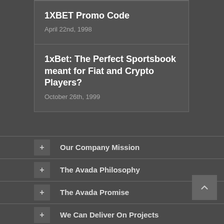1XBET Promo Code
April 22nd, 1998
1xBet: The Perfect Sportsbook meant for Fiat and Crypto Players?
October 26th, 1999
+ Our Company Mission
+ The Avada Philosophy
+ The Avada Promise
+ We Can Deliver On Projects